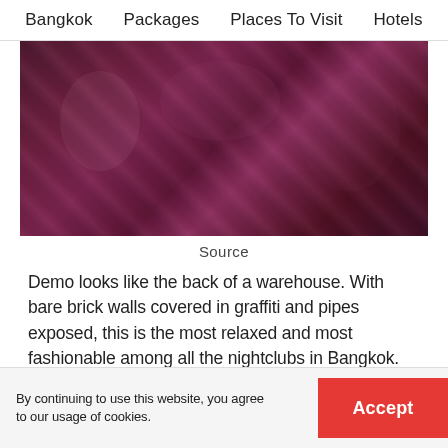Bangkok   Packages   Places To Visit   Hotels
[Figure (photo): Crowded nightclub scene with people dancing under purple/red lighting, appearing to be a lively party or nightclub event in Bangkok.]
Source
Demo looks like the back of a warehouse. With bare brick walls covered in graffiti and pipes exposed, this is the most relaxed and most fashionable among all the nightclubs in Bangkok. Two clubs are connected and guests are free to move between the two.
By continuing to use this website, you agree to our usage of cookies.